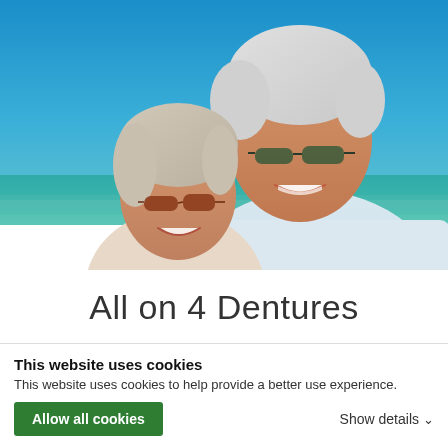[Figure (photo): Smiling elderly couple wearing sunglasses outdoors on a beach with blue sky and ocean in background]
All on 4 Dentures
Permanent dentures for beautiful, natural looking teeth
This website uses cookies
This website uses cookies to help provide a better use experience.
Allow all cookies
Show details